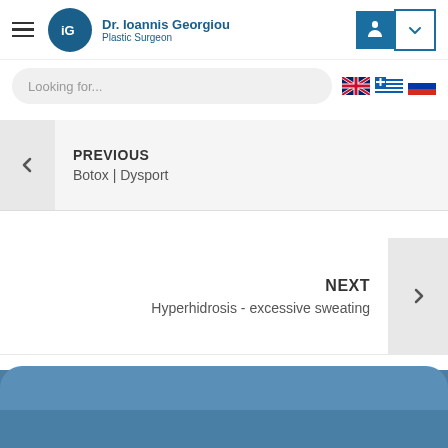Dr. Ioannis Georgiou – Plastic Surgeon
Looking for...
PREVIOUS
Botox | Dysport
NEXT
Hyperhidrosis - excessive sweating